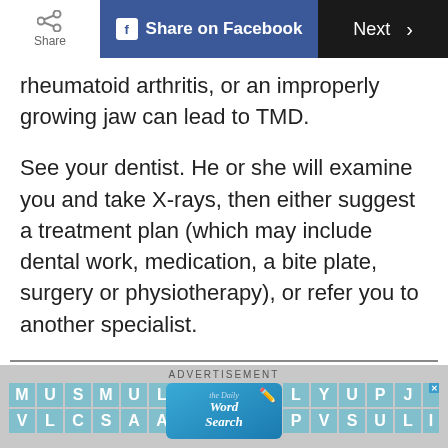Share | Share on Facebook | Next >
rheumatoid arthritis, or an improperly growing jaw can lead to TMD.
See your dentist. He or she will examine you and take X-rays, then either suggest a treatment plan (which may include dental work, medication, a bite plate, surgery or physiotherapy), or refer you to another specialist.
Don't panic: “Almost all TMD patients get better,” says Dr. Friedlander.
[Figure (screenshot): Advertisement banner for The Daily Word Search game, showing a word search grid with letters M U S M U L L Y U P J, V L C S A A P V S U L I, with The Daily Word Search logo overlaid in the center.]